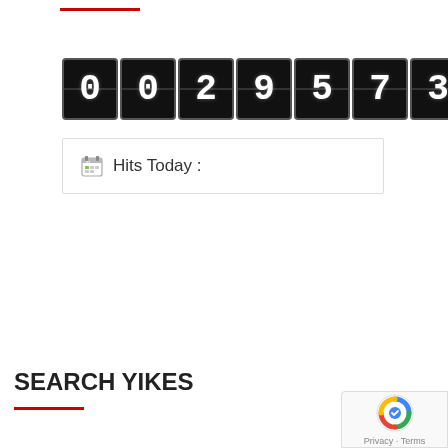[Figure (other): Digital counter showing the number 0029573 in flip-board style digit boxes with white digits on black background]
Hits Today :
SEARCH YIKES